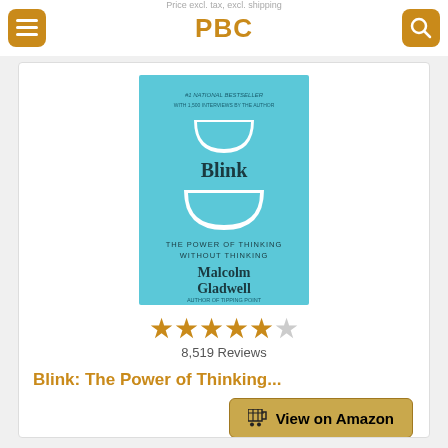Price excl. tax, excl. shipping
PBC
[Figure (illustration): Book cover for 'Blink: The Power of Thinking Without Thinking' by Malcolm Gladwell. Light blue background with white abstract bowl/crescent shapes and black title text.]
8,519 Reviews
Blink: The Power of Thinking...
View on Amazon
Price incl. tax, excl. shipping